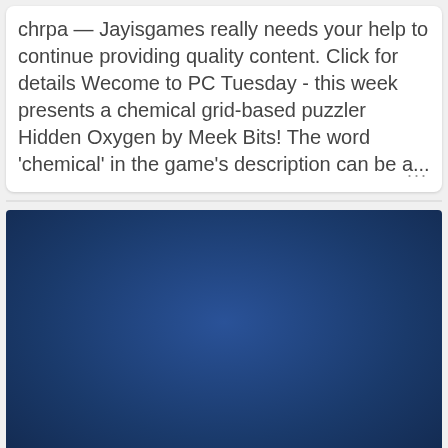chrpa — Jayisgames really needs your help to continue providing quality content. Click for details Wecome to PC Tuesday - this week presents a chemical grid-based puzzler Hidden Oxygen by Meek Bits! The word 'chemical' in the game's description can be a...
[Figure (photo): A large dark blue gradient rectangle, filling most of the lower portion of the page, resembling a dark blue background or image placeholder.]